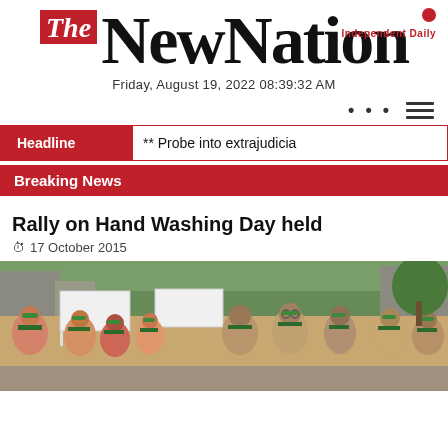The New Nation — Independent Daily
Friday, August 19, 2022 08:39:32 AM
Headline ** Probe into extrajudicia
Breaking News
Rally on Hand Washing Day held
17 October 2015
[Figure (photo): A rally scene showing a group of people marching on a street, wearing green headbands, some holding white banners with text, trees and buildings in the background.]